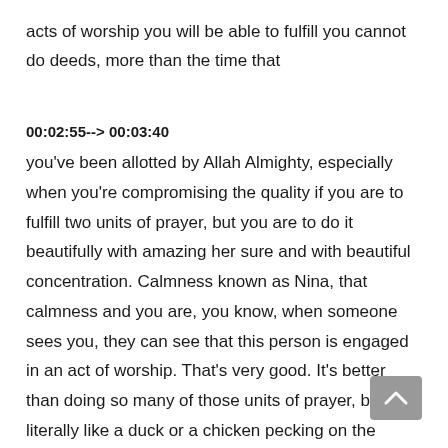acts of worship you will be able to fulfill you cannot do deeds, more than the time that
00:02:55--> 00:03:40
you've been allotted by Allah Almighty, especially when you're compromising the quality if you are to fulfill two units of prayer, but you are to do it beautifully with amazing her sure and with beautiful concentration. Calmness known as Nina, that calmness and you are, you know, when someone sees you, they can see that this person is engaged in an act of worship. That's very good. It's better than doing so many of those units of prayer, but literally like a duck or a chicken pecking on the ground, you know, up and down, up and down. And before we know it, it's like a race. It's like you're rushing to achieve something. It's like you're huffing and puffing, we need to change